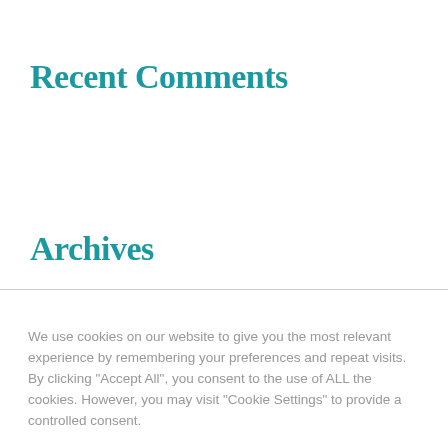Recent Comments
Archives
We use cookies on our website to give you the most relevant experience by remembering your preferences and repeat visits. By clicking "Accept All", you consent to the use of ALL the cookies. However, you may visit "Cookie Settings" to provide a controlled consent.